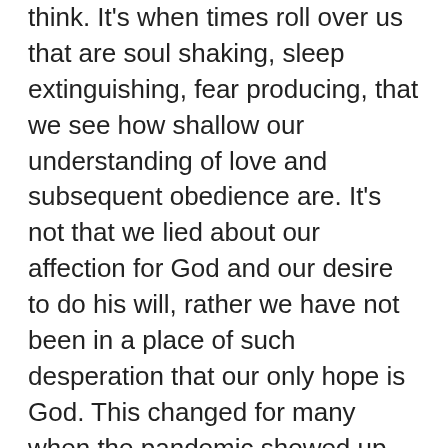think. It's when times roll over us that are soul shaking, sleep extinguishing, fear producing, that we see how shallow our understanding of love and subsequent obedience are. It's not that we lied about our affection for God and our desire to do his will, rather we have not been in a place of such desperation that our only hope is God. This changed for many when the pandemic showed up.
Most of us find ourselves at a monumental crossroads: do we really love God for himself, more than the life we knew four months ago? Or do we find ourselves longing for the perceived security we thought we had before disease and fear swept the globe and took